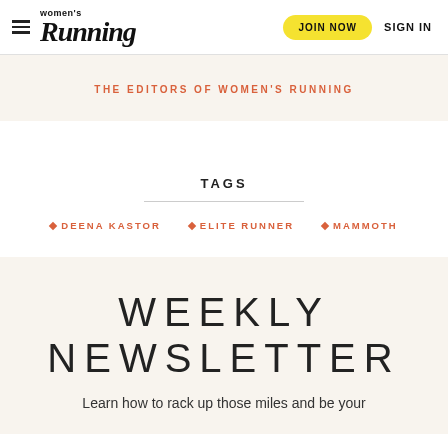Women's Running | JOIN NOW | SIGN IN
THE EDITORS OF WOMEN'S RUNNING
TAGS
DEENA KASTOR
ELITE RUNNER
MAMMOTH
WEEKLY NEWSLETTER
Learn how to rack up those miles and be your